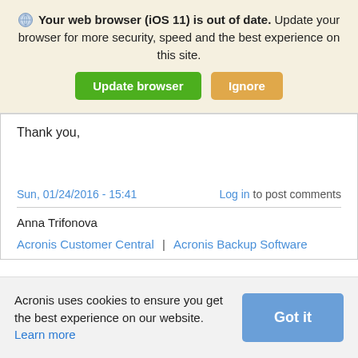Your web browser (iOS 11) is out of date. Update your browser for more security, speed and the best experience on this site.
Thank you,
Sun, 01/24/2016 - 15:41
Log in to post comments
Anna Trifonova
Acronis Customer Central | Acronis Backup Software
Acronis uses cookies to ensure you get the best experience on our website. Learn more